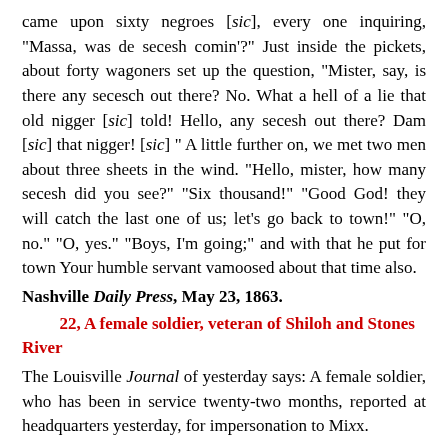came upon sixty negroes [sic], every one inquiring, "Massa, was de secesh comin'?" Just inside the pickets, about forty wagoners set up the question, "Mister, say, is there any secesch out there? No. What a hell of a lie that old nigger [sic] told! Hello, any secesh out there? Dam [sic] that nigger! [sic] " A little further on, we met two men about three sheets in the wind. "Hello, mister, how many secesh did you see?" "Six thousand!" "Good God! they will catch the last one of us; let's go back to town!" "O, no." "O, yes." "Boys, I'm going;" and with that he put for town Your humble servant vamoosed about that time also.
Nashville Daily Press, May 23, 1863.
22, A female soldier, veteran of Shiloh and Stones River
The Louisville Journal of yesterday says: A female soldier, who has been in service twenty-two months, reported at headquarters yesterday, for impersonation to Mixx....